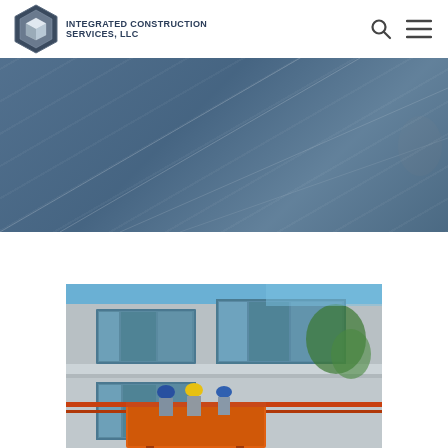[Figure (logo): Integrated Construction Services LLC logo — hexagonal geometric icon in dark blue/grey with white cube inset, next to bold uppercase text 'INTEGRATED CONSTRUCTION SERVICES, LLC']
[Figure (photo): Wide blue-tinted banner photo of a construction surface or road/concrete work, with a hand visible at right edge. Blue-grey tint overlay covers full width.]
[Figure (photo): Construction workers in hard hats (yellow, blue) on an orange scissor lift/aerial platform working on the exterior of a multi-story commercial building with large glass curtain wall. Red safety rails visible.]